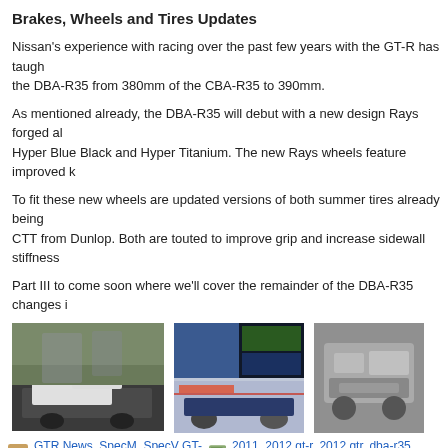Brakes, Wheels and Tires Updates
Nissan's experience with racing over the past few years with the GT-R has taugh the DBA-R35 from 380mm of the CBA-R35 to 390mm.
As mentioned already, the DBA-R35 will debut with a new design Rays forged al Hyper Blue Black and Hyper Titanium. The new Rays wheels feature improved k
To fit these new wheels are updated versions of both summer tires already being CTT from Dunlop. Both are touted to improve grip and increase sidewall stiffness
Part III to come soon where we'll cover the remainder of the DBA-R35 changes i
[Figure (photo): White Nissan GT-R on a road]
[Figure (photo): Blue Nissan GT-R collage with color swatches]
[Figure (photo): Engine bay detail of Nissan GT-R]
GTR News, SpecM, SpecV GT-R   2011, 2012 gt-r, 2012 gtr, dba-r35, dbar35,
2012 Nissan R35 GT-R Details Continue to Leak Prior to Late 2010 Of
August 24, 2010
[Figure (photo): Aerial/dark photo of Nissan GT-R]